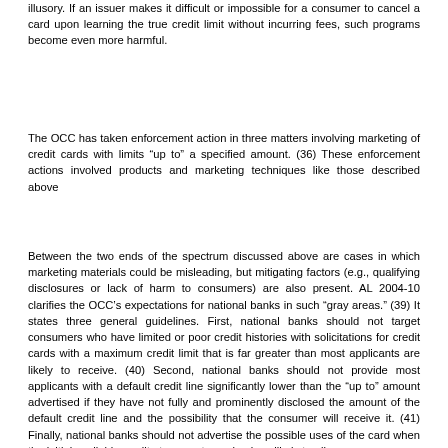illusory. If an issuer makes it difficult or impossible for a consumer to cancel a card upon learning the true credit limit without incurring fees, such programs become even more harmful.
The OCC has taken enforcement action in three matters involving marketing of credit cards with limits "up to" a specified amount. (36) These enforcement actions involved products and marketing techniques like those described above
Between the two ends of the spectrum discussed above are cases in which marketing materials could be misleading, but mitigating factors (e.g., qualifying disclosures or lack of harm to consumers) are also present. AL 2004-10 clarifies the OCC's expectations for national banks in such "gray areas." (39) It states three general guidelines. First, national banks should not target consumers who have limited or poor credit histories with solicitations for credit cards with a maximum credit limit that is far greater than most applicants are likely to receive. (40) Second, national banks should not provide most applicants with a default credit line significantly lower than the "up to" amount advertised if they have not fully and prominently disclosed the amount of the default credit line and the possibility that the consumer will receive it. (41) Finally, national banks should not advertise the possible uses of the card when the initial available credit at account opening is unlikely to allow